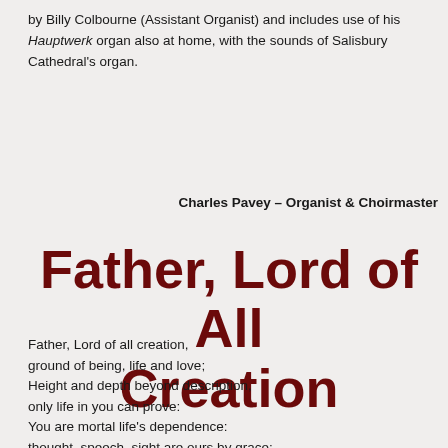by Billy Colbourne (Assistant Organist) and includes use of his Hauptwerk organ also at home, with the sounds of Salisbury Cathedral's organ.
Charles Pavey – Organist & Choirmaster
Father, Lord of All Creation
Father, Lord of all creation,
ground of being, life and love;
Height and depth beyond description,
only life in you can prove:
You are mortal life's dependence:
thought, speech, sight are ours by grace;